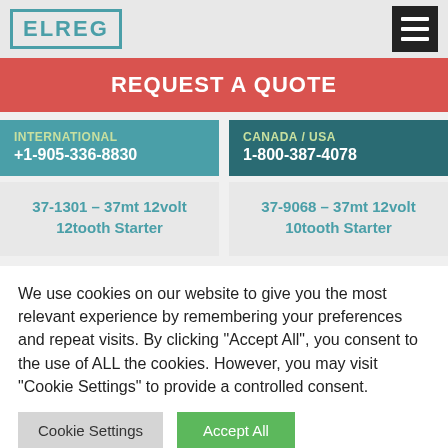ELREG
REQUEST A QUOTE
INTERNATIONAL +1-905-336-8830
CANADA / USA 1-800-387-4078
37-1301 – 37mt 12volt 12tooth Starter
37-9068 – 37mt 12volt 10tooth Starter
We use cookies on our website to give you the most relevant experience by remembering your preferences and repeat visits. By clicking "Accept All", you consent to the use of ALL the cookies. However, you may visit "Cookie Settings" to provide a controlled consent.
Cookie Settings | Accept All